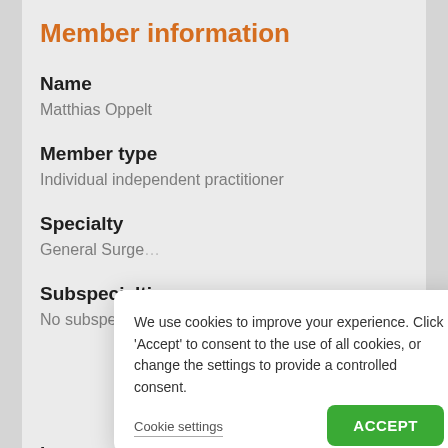Member information
Name
Matthias Oppelt
Member type
Individual independent practitioner
Specialty
General Surge…
Subspecialties
No subspecialties selected
Languages spoken
We use cookies to improve your experience. Click 'Accept' to consent to the use of all cookies, or change the settings to provide a controlled consent.
Cookie settings
ACCEPT